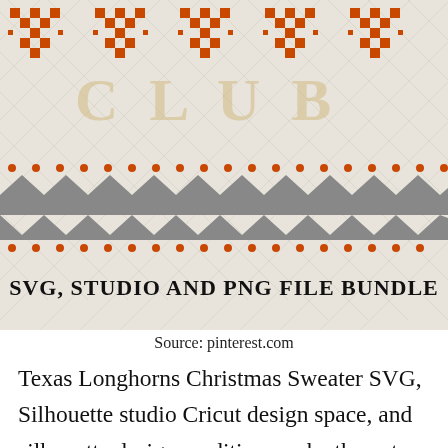[Figure (illustration): Texas Longhorns Christmas Sweater SVG product image with orange and white Nordic/Fair Isle snowflake pattern, gray zigzag border, and text 'SVG, STUDIO AND PNG FILE BUNDLE' in bold black serif font]
Source: pinterest.com
Texas Longhorns Christmas Sweater SVG, Silhouette studio Cricut design space, and silhouette designer edition, make the cut (mtc), sure cuts a lot (scal), and brother scan and cut “canvas” software Christmas sweater, set of 4 templates plus alphabet